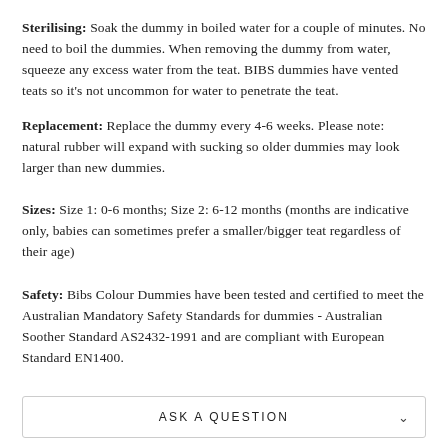Sterilising: Soak the dummy in boiled water for a couple of minutes. No need to boil the dummies. When removing the dummy from water, squeeze any excess water from the teat. BIBS dummies have vented teats so it's not uncommon for water to penetrate the teat.
Replacement: Replace the dummy every 4-6 weeks. Please note: natural rubber will expand with sucking so older dummies may look larger than new dummies.
Sizes: Size 1: 0-6 months; Size 2: 6-12 months (months are indicative only, babies can sometimes prefer a smaller/bigger teat regardless of their age)
Safety: Bibs Colour Dummies have been tested and certified to meet the Australian Mandatory Safety Standards for dummies - Australian Soother Standard AS2432-1991 and are compliant with European Standard EN1400.
ASK A QUESTION